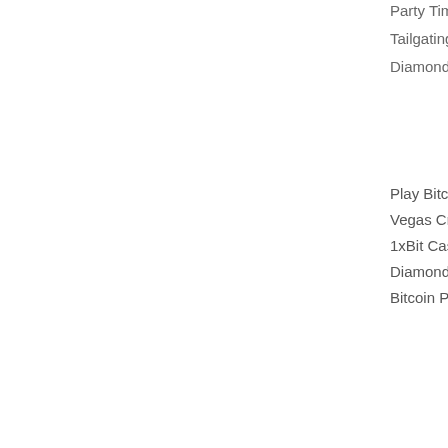Party Time - 626.1 e...
Tailgating - 406.2 ltc...
Diamond Tower - 626...
Play Bitcoin slots:
Vegas Crest Casino ...
1xBit Casino Brilliant...
Diamond Reels Casi...
Bitcoin Penguin Casi...
https://www.bolsover...
https://www.tarotmec...
https://fr.foxyandfrien...
https://www.blackboh...
Home   Sale   Rent
Suwan Real Estate Holding Co., Ltd | 3 Soi Sukhumvit 6, Klongtoey... Real Estate Holdings Co., Ltd. | Email: D...